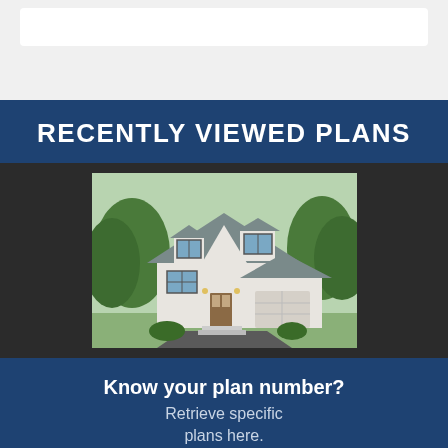[Figure (screenshot): Top navigation/search bar area with white input box on light gray background]
RECENTLY VIEWED PLANS
[Figure (photo): Modern farmhouse style home with metal roof, white siding, large windows, and attached two-car garage surrounded by trees]
Know your plan number?
Retrieve specific plans here.
[Figure (other): Lookup plan # input field with Go button]